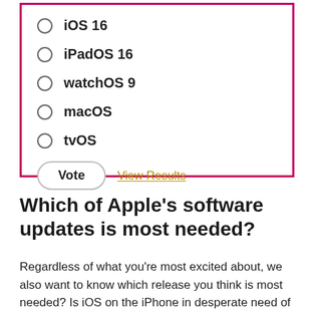iOS 16
iPadOS 16
watchOS 9
macOS
tvOS
Vote   View Results
Which of Apple's software updates is most needed?
Regardless of what you're most excited about, we also want to know which release you think is most needed? Is iOS on the iPhone in desperate need of an